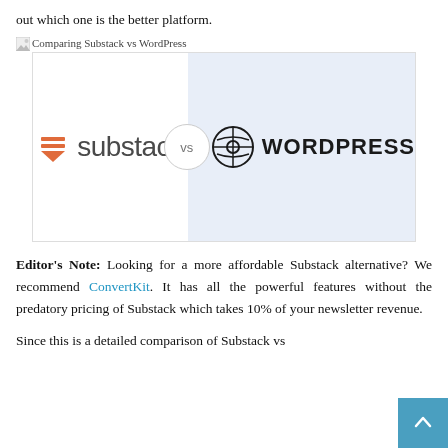out which one is the better platform.
[Figure (illustration): Comparing Substack vs WordPress — split panel image with Substack logo on white left side and WordPress logo on light blue right side, with a 'vs' circle in the center dividing them.]
Editor's Note: Looking for a more affordable Substack alternative? We recommend ConvertKit. It has all the powerful features without the predatory pricing of Substack which takes 10% of your newsletter revenue.
Since this is a detailed comparison of Substack vs